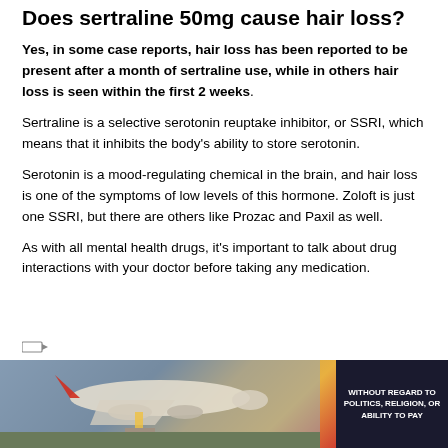Does sertraline 50mg cause hair loss?
Yes, in some case reports, hair loss has been reported to be present after a month of sertraline use, while in others hair loss is seen within the first 2 weeks.
Sertraline is a selective serotonin reuptake inhibitor, or SSRI, which means that it inhibits the body’s ability to store serotonin.
Serotonin is a mood-regulating chemical in the brain, and hair loss is one of the symptoms of low levels of this hormone. Zoloft is just one SSRI, but there are others like Prozac and Paxil as well.
As with all mental health drugs, it's important to talk about drug interactions with your doctor before taking any medication.
[Figure (photo): Advertisement banner showing an airplane being loaded with cargo, with text overlay reading WITHOUT REGARD TO POLITICS, RELIGION, OR ABILITY TO PAY]